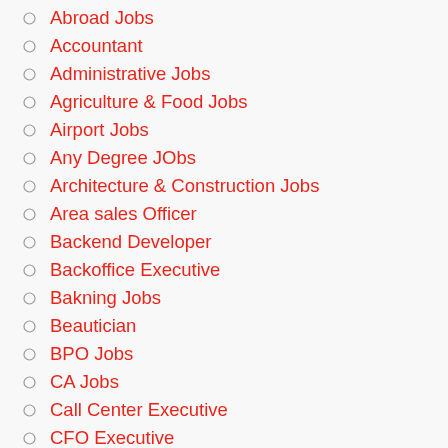Abroad Jobs
Accountant
Administrative Jobs
Agriculture & Food Jobs
Airport Jobs
Any Degree JObs
Architecture & Construction Jobs
Area sales Officer
Backend Developer
Backoffice Executive
Bakning Jobs
Beautician
BPO Jobs
CA Jobs
Call Center Executive
CFO Executive